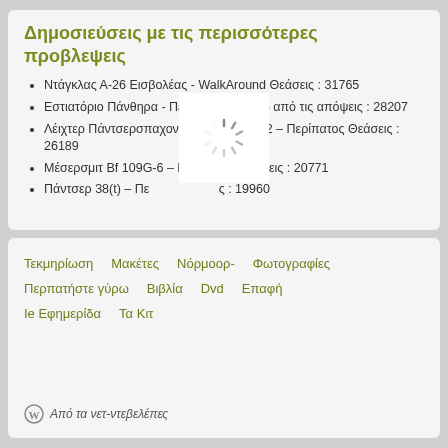Δημοσιεύσεις με τις περισσότερες προβλεψεις
Ντάγκλας Α-26 Εισβολέας - WalkAround Θεάσεις : 31765
Εστιατόριο Πάνθηρα - Περπατήστε γύρω από τις απόψεις : 28207
Λέιχτερ Πάντσερσπαχονγκεν – Sdkfz.222 – Περίπατος Θεάσεις : 26189
Μέσερσμιτ Bf 109G-6 – Περίπατος Θεάσεις : 20771
Πάντσερ 38(t) – Περίπατος Θεάσεις : 19960
Τεκμηρίωση   Μακέτες   Νόρμοορ-  Φωτογραφίες   Περπατήστε γύρω   Βιβλία   Dvd   Επαφή   Ie Εφημερίδα   Τα Κιτ
Από τα νετ-ντεβελέπες